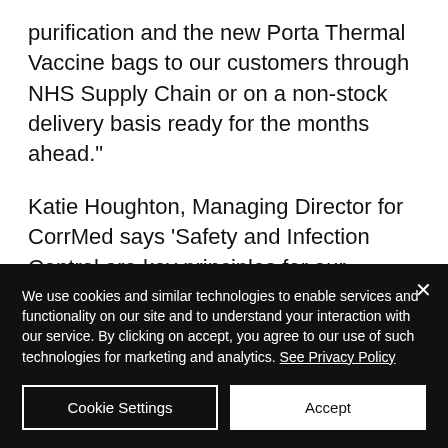purification and the new Porta Thermal Vaccine bags to our customers through NHS Supply Chain or on a non-stock delivery basis ready for the months ahead."
Katie Houghton, Managing Director for CorrMed says 'Safety and Infection Control are key principles for our business. Today the two businesses enjoy a highly successful partnership
We use cookies and similar technologies to enable services and functionality on our site and to understand your interaction with our service. By clicking on accept, you agree to our use of such technologies for marketing and analytics. See Privacy Policy